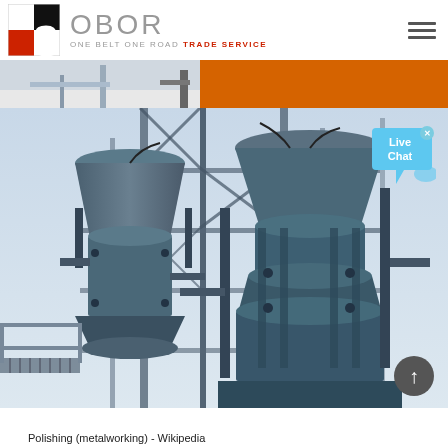OBOR - ONE BELT ONE ROAD TRADE SERVICE
[Figure (photo): Industrial heavy machinery - blue metal crushing/processing equipment on scaffolding structure, with orange machinery visible at top. Live Chat bubble overlay visible in top right of image.]
Polishing (metalworking) - Wikipedia